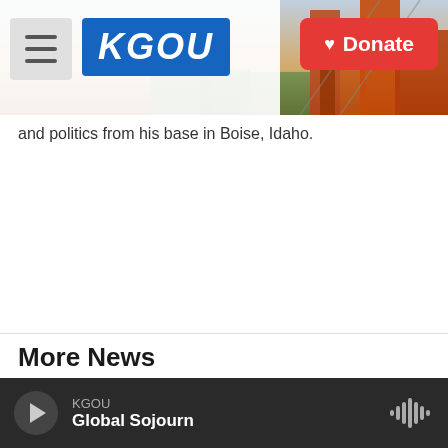KGOU | Donate
and politics from his base in Boise, Idaho.
More News
[Figure (photo): Medical/hospital items on a table including a specimen cup and packaged supplies]
[Figure (photo): Electronic hardware or circuit board panel with rows of ports/connectors]
KGOU — Global Sojourn (audio player bar)